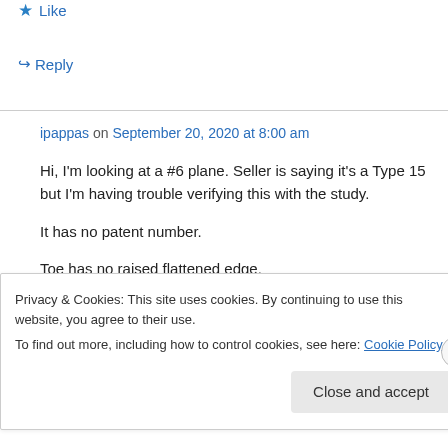★ Like
↵ Reply
ipappas on September 20, 2020 at 8:00 am
Hi, I'm looking at a #6 plane. Seller is saying it's a Type 15 but I'm having trouble verifying this with the study.

It has no patent number.

Toe has no raised flattened edge.

Bailey is stamped in front of the knob on the toe.
Privacy & Cookies: This site uses cookies. By continuing to use this website, you agree to their use.
To find out more, including how to control cookies, see here: Cookie Policy